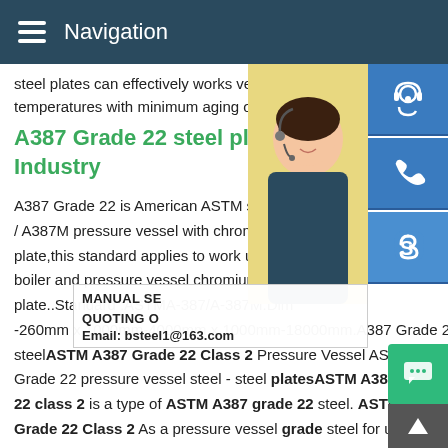Navigation
steel plates can effectively works very well temperatures with minimum aging of the
A387 Grade 22 steel plate -- S Industry
A387 Grade 22 is American ASTM standard / A387M pressure vessel with chrome moly plate,this standard applies to work under h boiler and pressure vessel chromium moly plate..Standard :ASTMA-387/A-387M.Dim -260mm x 1000mm-4000mm x 1000mm-18000mm.A387 Grade 22 steel ASTM A387 Grade 22 Class 2 Pressure Vessel ASTM A387 Grade 22 pressure vessel steel - steel platesASTM A387 grade 22 class 2 is a type of ASTM A387 grade 22 steel. ASTM A387 Grade 22 Class 2 As a pressure vessel grade steel for use in elevated temperature service, is used in a variety of industries
[Figure (photo): Customer service representative woman with headset, yellow background]
[Figure (infographic): Blue icon buttons: headset/customer service, phone, Skype. Contact info overlay: MANUAL SE... QUOTING O... Email: bsteel1@163.com. Green chat button and grey scroll-up button.]